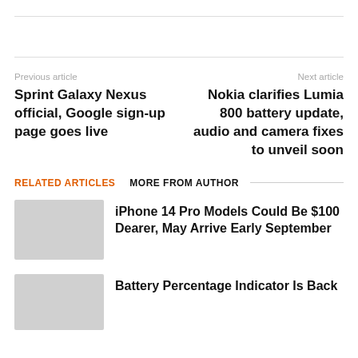Previous article
Sprint Galaxy Nexus official, Google sign-up page goes live
Next article
Nokia clarifies Lumia 800 battery update, audio and camera fixes to unveil soon
RELATED ARTICLES
MORE FROM AUTHOR
iPhone 14 Pro Models Could Be $100 Dearer, May Arrive Early September
Battery Percentage Indicator Is Back